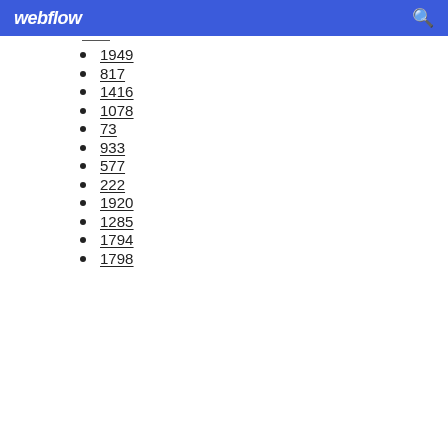webflow
1949
817
1416
1078
73
933
577
222
1920
1285
1794
1798